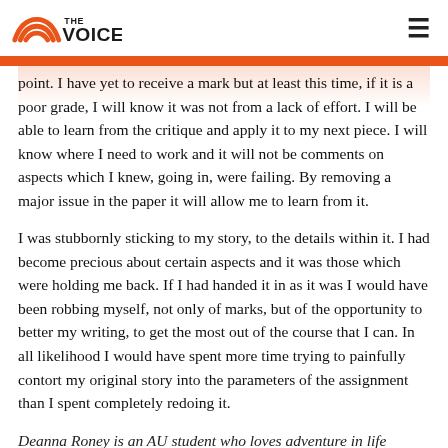THE VOICE
point. I have yet to receive a mark but at least this time, if it is a poor grade, I will know it was not from a lack of effort. I will be able to learn from the critique and apply it to my next piece. I will know where I need to work and it will not be comments on aspects which I knew, going in, were failing. By removing a major issue in the paper it will allow me to learn from it.
I was stubbornly sticking to my story, to the details within it. I had become precious about certain aspects and it was those which were holding me back. If I had handed it in as it was I would have been robbing myself, not only of marks, but of the opportunity to better my writing, to get the most out of the course that I can. In all likelihood I would have spent more time trying to painfully contort my original story into the parameters of the assignment than I spent completely redoing it.
Deanna Roney is an AU student who loves adventure in life